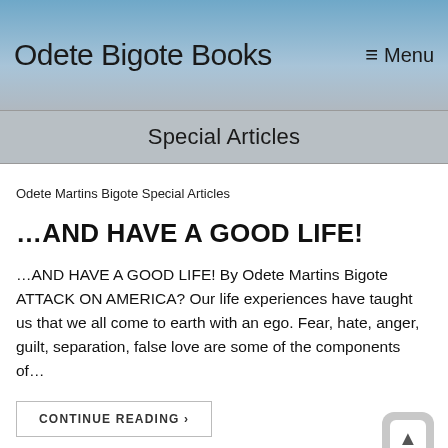Odete Bigote Books ≡ Menu
Special Articles
Odete Martins Bigote Special Articles
…AND HAVE A GOOD LIFE!
…AND HAVE A GOOD LIFE! By Odete Martins Bigote ATTACK ON AMERICA? Our life experiences have taught us that we all come to earth with an ego. Fear, hate, anger, guilt, separation, false love are some of the components of…
CONTINUE READING ›